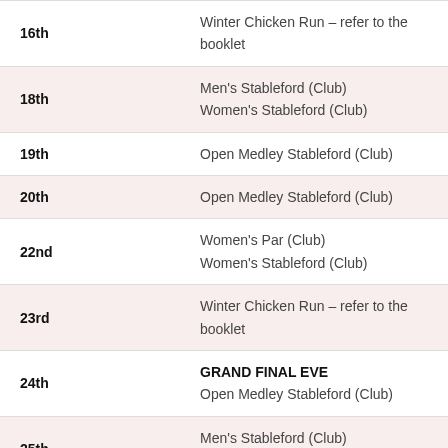| Date | Event |
| --- | --- |
| 16th | Winter Chicken Run – refer to the booklet |
| 18th | Men's Stableford (Club)
Women's Stableford (Club) |
| 19th | Open Medley Stableford (Club) |
| 20th | Open Medley Stableford (Club) |
| 22nd | Women's Par (Club)
Women's Stableford (Club) |
| 23rd | Winter Chicken Run – refer to the booklet |
| 24th | GRAND FINAL EVE
Open Medley Stableford (Club) |
| 25th | Men's Stableford (Club)
Women's Stableford (Club) |
| 26th | Open Medley Stableford (Club) |